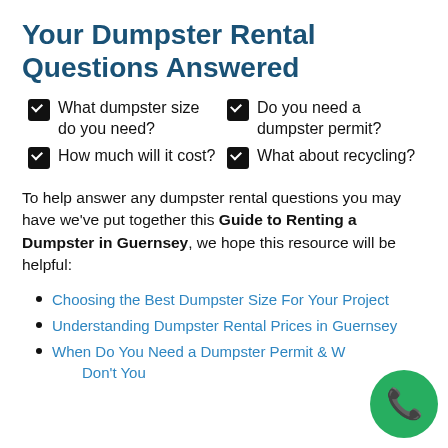Your Dumpster Rental Questions Answered
What dumpster size do you need?
Do you need a dumpster permit?
How much will it cost?
What about recycling?
To help answer any dumpster rental questions you may have we've put together this Guide to Renting a Dumpster in Guernsey, we hope this resource will be helpful:
Choosing the Best Dumpster Size For Your Project
Understanding Dumpster Rental Prices in Guernsey
When Do You Need a Dumpster Permit & When Don't You